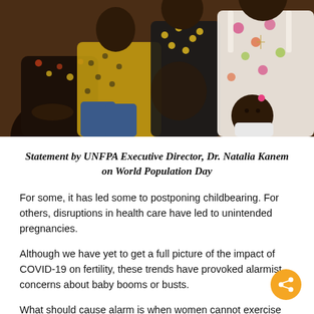[Figure (photo): A group of African women and a baby sitting together outdoors. One woman wears a floral dress, another a yellow dotted outfit, another a black floral top.]
Statement by UNFPA Executive Director, Dr. Natalia Kanem on World Population Day
For some, it has led some to postponing childbearing. For others, disruptions in health care have led to unintended pregnancies.
Although we have yet to get a full picture of the impact of COVID-19 on fertility, these trends have provoked alarmist concerns about baby booms or busts.
What should cause alarm is when women cannot exercise their sexual and reproductive rights and